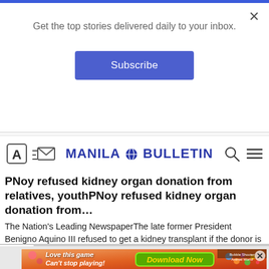Get the top stories delivered daily to your inbox.
Subscribe
MANILA BULLETIN
PNoy refused kidney organ donation from relatives, youthPNoy refused kidney organ donation from…
The Nation's Leading NewspaperThe late former President Benigno Aquino III refused to get a kidney transplant if the donor is …
Manila Bulletin
[Figure (screenshot): Mobile game advertisement with orange background, text 'Love this game Can't stop playing!' and 'Download Now' button, labeled 'Bubble Shooter Animal World']